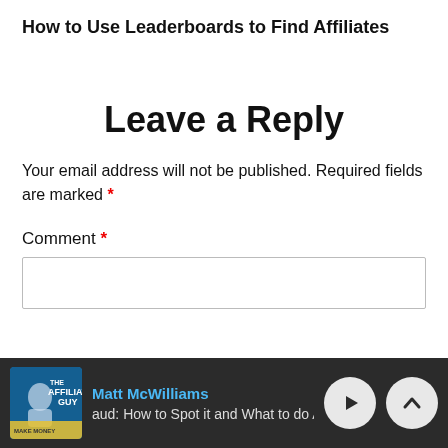How to Use Leaderboards to Find Affiliates
Leave a Reply
Your email address will not be published. Required fields are marked *
Comment *
[Figure (other): Comment text input box (empty)]
Matt McWilliams | aud: How to Spot it and What to do A